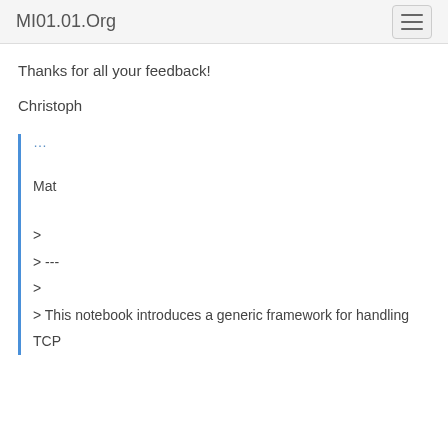MI01.01.Org
Thanks for all your feedback!
Christoph
...
Mat
>
> ---
>
> This notebook introduces a generic framework for handling TCP